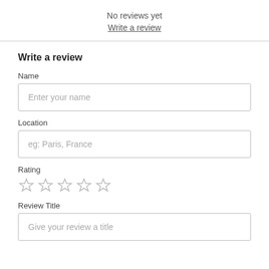No reviews yet
Write a review
Write a review
Name
Enter your name
Location
eg: Paris, France
Rating
[Figure (other): Five empty star rating icons in a row]
Review Title
Give your review a title